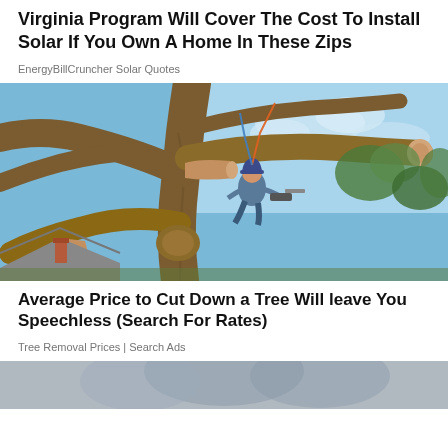Virginia Program Will Cover The Cost To Install Solar If You Own A Home In These Zips
EnergyBillCruncher Solar Quotes
[Figure (photo): A tree surgeon/arborist wearing a helmet and safety harness is sitting in a large tree with cut branches, holding a chainsaw, with blue sky in the background and a house roofline visible below.]
Average Price to Cut Down a Tree Will leave You Speechless (Search For Rates)
Tree Removal Prices | Search Ads
[Figure (photo): Partial view of another advertisement image at the bottom of the page, cropped.]